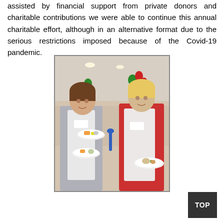assisted by financial support from private donors and charitable contributions we were able to continue this annual charitable effort, although in an alternative format due to the serious restrictions imposed because of the Covid-19 pandemic.
[Figure (photo): Two women wearing white aprons serving food on plates at what appears to be a charitable dinner event. Colourful balloons and tables with guests are visible in the background.]
TOP